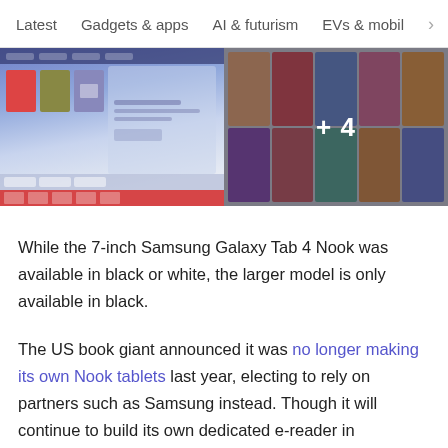Latest   Gadgets & apps   AI & futurism   EVs & mobil  >
[Figure (screenshot): Two screenshot thumbnails side by side showing tablet/e-reader app interfaces. The right image has a '+4' overlay in white text.]
While the 7-inch Samsung Galaxy Tab 4 Nook was available in black or white, the larger model is only available in black.
The US book giant announced it was no longer making its own Nook tablets last year, electing to rely on partners such as Samsung instead. Though it will continue to build its own dedicated e-reader in